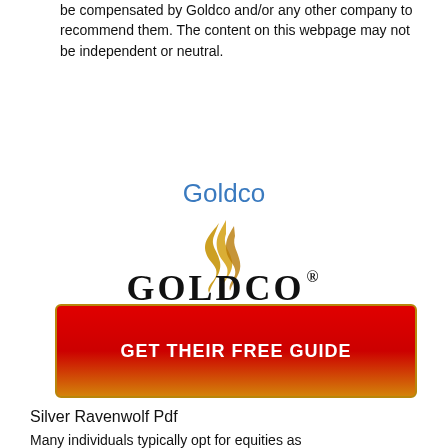be compensated by Goldco and/or any other company to recommend them. The content on this webpage may not be independent or neutral.
Goldco
[Figure (logo): Goldco company logo with golden flame/swirl above bold black text reading GOLDCO with registered trademark symbol]
[Figure (other): Red to orange-yellow gradient button with white bold text reading GET THEIR FREE GUIDE]
Silver Ravenwolf Pdf
Many individuals typically opt for equities as